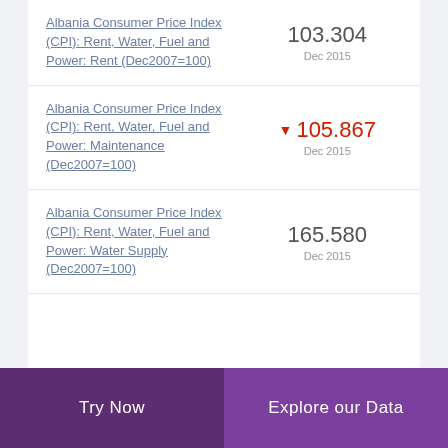Albania Consumer Price Index (CPI): Rent, Water, Fuel and Power: Rent (Dec2007=100) | 103.304 | Dec 2015
Albania Consumer Price Index (CPI): Rent, Water, Fuel and Power: Maintenance (Dec2007=100) | ▼ 105.867 | Dec 2015
Albania Consumer Price Index (CPI): Rent, Water, Fuel and Power: Water Supply (Dec2007=100) | 165.580 | Dec 2015
Try Now | Explore our Data